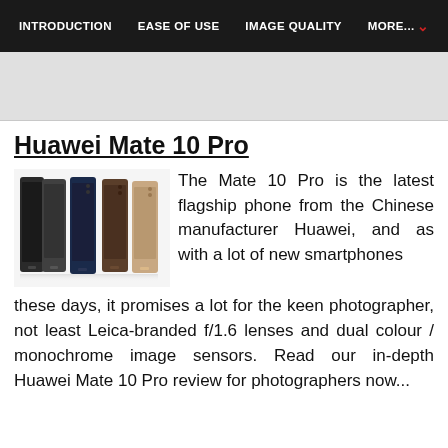INTRODUCTION   EASE OF USE   IMAGE QUALITY   MORE...
[Figure (photo): Grey banner/advertisement area at top of page content]
Huawei Mate 10 Pro
[Figure (photo): Five Huawei Mate 10 Pro smartphones shown in a row in different colors (black, dark blue, blue, brown/gold, light gold/rose gold)]
The Mate 10 Pro is the latest flagship phone from the Chinese manufacturer Huawei, and as with a lot of new smartphones these days, it promises a lot for the keen photographer, not least Leica-branded f/1.6 lenses and dual colour / monochrome image sensors. Read our in-depth Huawei Mate 10 Pro review for photographers now...